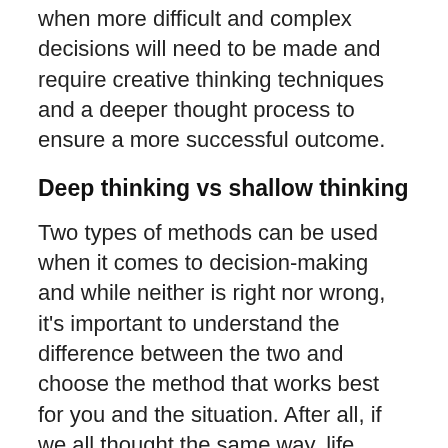when more difficult and complex decisions will need to be made and require creative thinking techniques and a deeper thought process to ensure a more successful outcome.
Deep thinking vs shallow thinking
Two types of methods can be used when it comes to decision-making and while neither is right nor wrong, it's important to understand the difference between the two and choose the method that works best for you and the situation. After all, if we all thought the same way, life would be pretty boring right?
Deep thinking requires effort and mindfulness and someone who is considered a deep thinker will usually look at the whole chain of